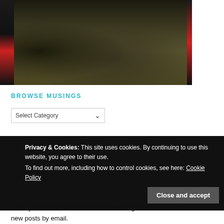[Figure (photo): Outdoor nature photo showing a hillside with dry grass and brush, a person visible on the left edge wearing dark clothing with red, partial view on right edge.]
BROWSE MUSINGS
Select Category
Privacy & Cookies: This site uses cookies. By continuing to use this website, you agree to their use.
To find out more, including how to control cookies, see here: Cookie Policy
Close and accept
Enter your email address to follow this blog and receive notifications of new posts by email.